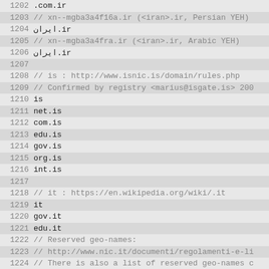1202  .com.ir
1203  // xn--mgba3a4f16a.ir (<iran>.ir, Persian YEH)
1204  ایران.ir
1205  // xn--mgba3a4fra.ir (<iran>.ir, Arabic YEH)
1206  ایران.ir
1207
1208  // is : http://www.isnic.is/domain/rules.php
1209  // Confirmed by registry <marius@isgate.is> 200
1210  is
1211  net.is
1212  com.is
1213  edu.is
1214  gov.is
1215  org.is
1216  int.is
1217
1218  // it : https://en.wikipedia.org/wiki/.it
1219  it
1220  gov.it
1221  edu.it
1222  // Reserved geo-names:
1223  // http://www.nic.it/documenti/regolamenti-e-li
1224  // There is also a list of reserved geo-names c
1225  // http://www.nic.it/documenti/appendice-c.pdf,
1226  // Regions
1227  abr.it
1228  abruzzo.it